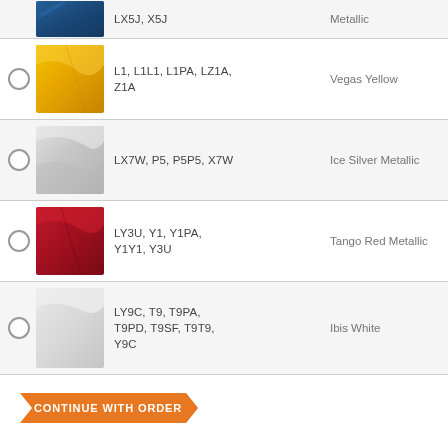LX5J, X5J — Metallic
L1, L1L1, L1PA, LZ1A, Z1A — Vegas Yellow
LX7W, P5, P5P5, X7W — Ice Silver Metallic
LY3U, Y1, Y1PA, Y1Y1, Y3U — Tango Red Metallic
LY9C, T9, T9PA, T9PD, T9SF, T9T9, Y9C — Ibis White
CONTINUE WITH ORDER